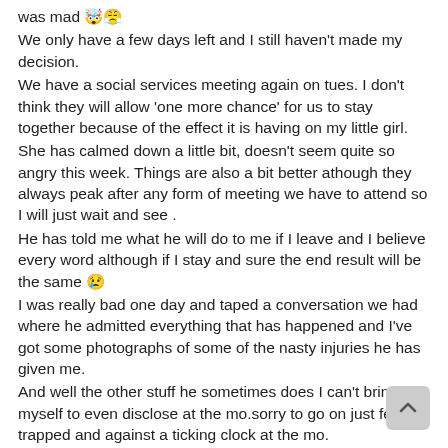was mad 🤯😤
We only have a few days left and I still haven't made my decision.
We have a social services meeting again on tues. I don't think they will allow 'one more chance' for us to stay together because of the effect it is having on my little girl.
She has calmed down a little bit, doesn't seem quite so angry this week. Things are also a bit better athough they always peak after any form of meeting we have to attend so I will just wait and see .
He has told me what he will do to me if I leave and I believe every word although if I stay and sure the end result will be the same 😢
I was really bad one day and taped a conversation we had where he admitted everything that has happened and I've got some photographs of some of the nasty injuries he has given me.
And well the other stuff he sometimes does I can't bring myself to even disclose at the mo.sorry to go on just feel so trapped and against a ticking clock at the mo.